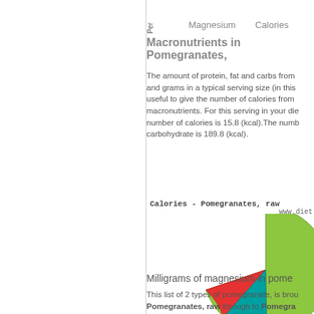Per  Magnesium  Calories
Macronutrients in Pomegranates,
The amount of protein, fat and carbs from and grams in a typical serving size (in this useful to give the number of calories from macronutrients. For this serving in your die number of calories is 15.8 (kcal).The numb carbohydrate is 189.8 (kcal).
[Figure (pie-chart): Calories - Pomegranates, raw]
189.8 kcal (81.4%)
Milligrams of magnesium in pome
This list of 2 types of pomegranate, is brou Pomegranates, raw through to Pomegra content or amount per 100g. The nutritio